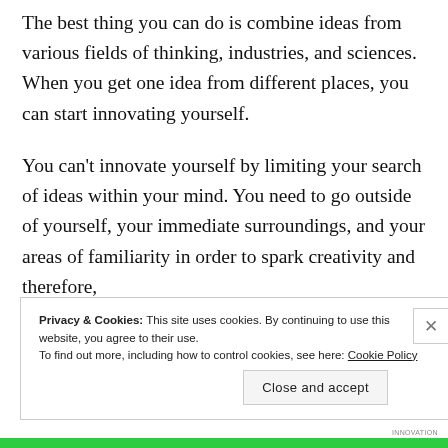The best thing you can do is combine ideas from various fields of thinking, industries, and sciences. When you get one idea from different places, you can start innovating yourself.
You can't innovate yourself by limiting your search of ideas within your mind. You need to go outside of yourself, your immediate surroundings, and your areas of familiarity in order to spark creativity and therefore,
Privacy & Cookies: This site uses cookies. By continuing to use this website, you agree to their use.
To find out more, including how to control cookies, see here: Cookie Policy